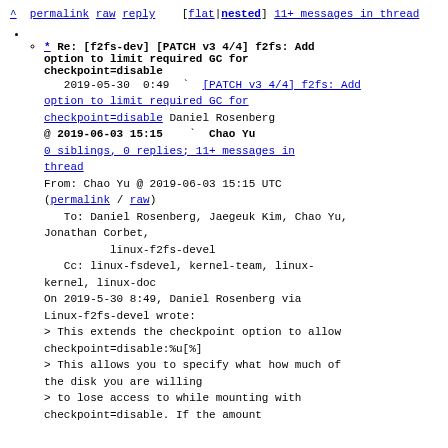^ permalink raw reply [flat|nested] 11+ messages in thread
* Re: [f2fs-dev] [PATCH v3 4/4] f2fs: Add option to limit required GC for checkpoint=disable
2019-05-30 0:49 ` [PATCH v3 4/4] f2fs: Add option to limit required GC for checkpoint=disable Daniel Rosenberg
@ 2019-06-03 15:15 ` Chao Yu
0 siblings, 0 replies; 11+ messages in thread
From: Chao Yu @ 2019-06-03 15:15 UTC
(permalink / raw)
To: Daniel Rosenberg, Jaegeuk Kim, Chao Yu, Jonathan Corbet,
         linux-f2fs-devel
   Cc: linux-fsdevel, kernel-team, linux-kernel, linux-doc

On 2019-5-30 8:49, Daniel Rosenberg via Linux-f2fs-devel wrote:
> This extends the checkpoint option to allow checkpoint=disable:%u[%]
> This allows you to specify what how much of the disk you are willing
> to lose access to while mounting with checkpoint=disable. If the amount